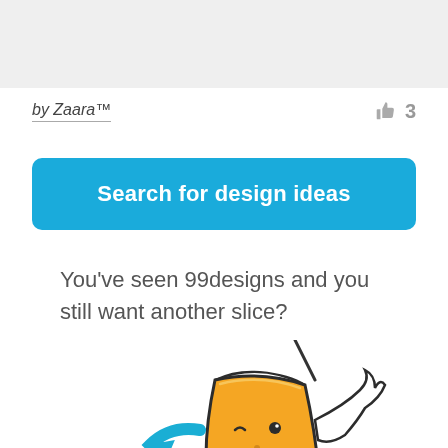by Zaara™
3
Search for design ideas
You've seen 99designs and you still want another slice?
[Figure (illustration): Cartoon pizza slice character with a face, blue dripping sauce, flexing arm, winking and pointing]